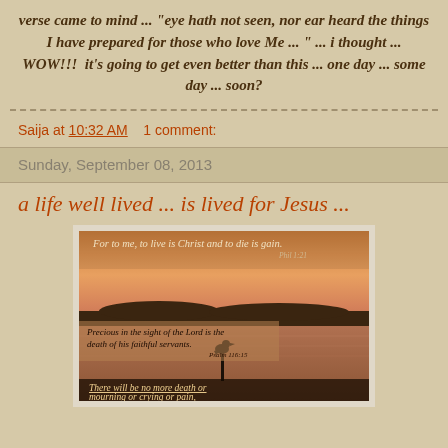verse came to mind ... "eye hath not seen, nor ear heard the things I have prepared for those who love Me ... " ... i thought ... WOW!!!  it's going to get even better than this ... one day ... some day ... soon?
Saija at 10:32 AM    1 comment:
Sunday, September 08, 2013
a life well lived ... is lived for Jesus ...
[Figure (photo): A sunset/dusk scene over water with a silhouette of a bird on a post. Three Bible verse overlays: 'For to me, to live is Christ and to die is gain. Phil 1:21', 'Precious in the sight of the Lord is the death of his faithful servants. Psalm 116:15', 'There will be no more death or mourning or crying or pain,']